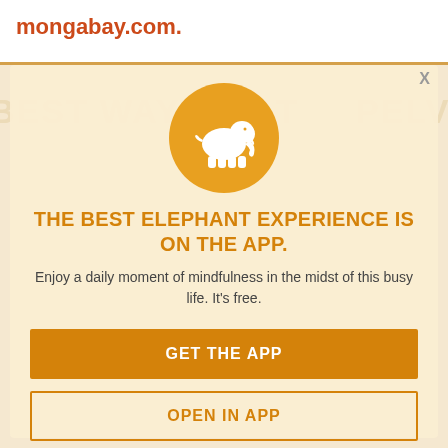mongabay.com.
[Figure (logo): Mongabay elephant logo: white elephant silhouette on orange circle]
THE BEST ELEPHANT EXPERIENCE IS ON THE APP.
Enjoy a daily moment of mindfulness in the midst of this busy life. It's free.
GET THE APP
OPEN IN APP